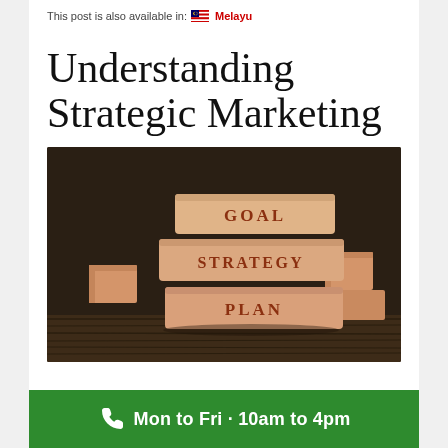This post is also available in: 🇲🇾 Melayu
Understanding Strategic Marketing
[Figure (photo): Three stacked wooden blocks on a dark wooden surface with other blocks in background. The blocks are labeled from top to bottom: GOAL, STRATEGY, PLAN in brown/red text.]
Mon to Fri · 10am to 4pm